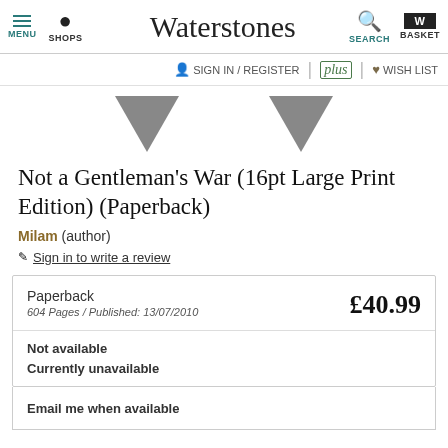MENU | SHOPS | Waterstones | SEARCH | BASKET
SIGN IN / REGISTER | plus | WISH LIST
[Figure (illustration): Two grey downward-pointing triangles representing decorative bunting]
Not a Gentleman's War (16pt Large Print Edition) (Paperback)
Milam (author)
Sign in to write a review
| Format/Info | Price |
| --- | --- |
| Paperback
604 Pages / Published: 13/07/2010 | £40.99 |
| Not available |  |
| Currently unavailable |  |
Email me when available